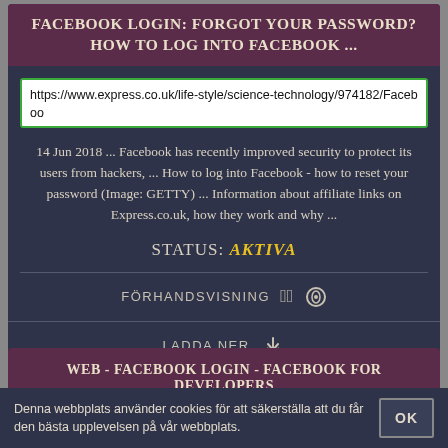FACEBOOK LOGIN: FORGOT YOUR PASSWORD? HOW TO LOG INTO FACEBOOK ...
https://www.express.co.uk/life-style/science-technology/974182/Facebook
14 Jun 2018 ... Facebook has recently improved security to protect its users from hackers, ... How to log into Facebook - how to reset your password (Image: GETTY) ... Information about affiliate links on Express.co.uk, how they work and why ...
STATUS: AKTIVA
FÖRHANDSVISNING 👁
LADDA NER ⬇
WEB - FACEBOOK LOGIN - FACEBOOK FOR DEVELOPERS
Denna webbplats använder cookies för att säkerställa att du får den bästa upplevelsen på vår webbplats.